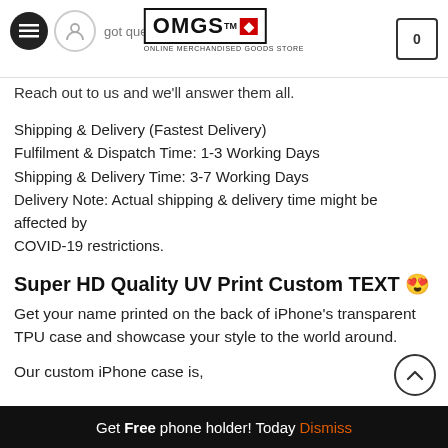Got questions? OMGS ONLINE MERCHANDISED GOODS STORE [cart: 0]
Reach out to us and we'll answer them all.
Shipping & Delivery (Fastest Delivery)
Fulfilment & Dispatch Time: 1-3 Working Days
Shipping & Delivery Time: 3-7 Working Days
Delivery Note: Actual shipping & delivery time might be affected by COVID-19 restrictions.
Super HD Quality UV Print Custom TEXT 😍
Get your name printed on the back of iPhone's transparent TPU case and showcase your style to the world around.
Our custom iPhone case is,
Get Free phone holder! Today Dismiss